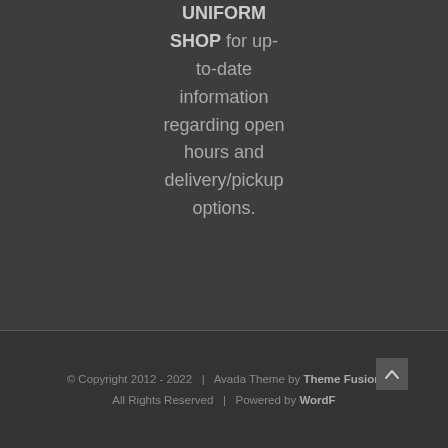UNIFORM SHOP for up-to-date information regarding open hours and delivery/pickup options.
© Copyright 2012 - 2022  |  Avada Theme by Theme Fusion  All Rights Reserved  |  Powered by WordPress